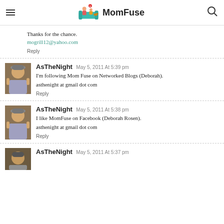MomFuse
Thanks for the chance.
mogrill12@yahoo.com
Reply
AsTheNight May 5, 2011 At 5:39 pm
I'm following Mom Fuse on Networked Blogs (Deborah).
asthenight at gmail dot com
Reply
AsTheNight May 5, 2011 At 5:38 pm
I like MomFuse on Facebook (Deborah Rosen).
asthenight at gmail dot com
Reply
AsTheNight May 5, 2011 At 5:37 pm